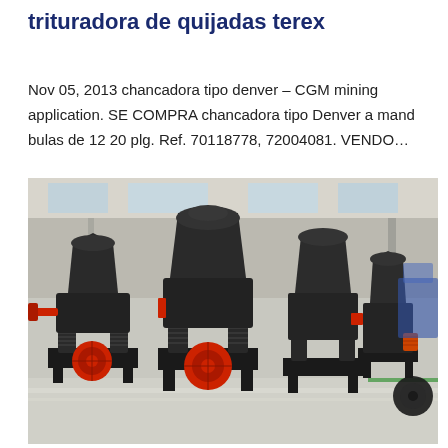trituradora de quijadas terex
Nov 05, 2013 chancadora tipo denver – CGM mining application. SE COMPRA chancadora tipo Denver a mand bulas de 12 20 plg. Ref. 70118778, 72004081. VENDO…
[Figure (photo): Industrial cone crushers in a manufacturing facility. Multiple large black cone crusher machines with red accents arranged in a row inside a warehouse with concrete floor.]